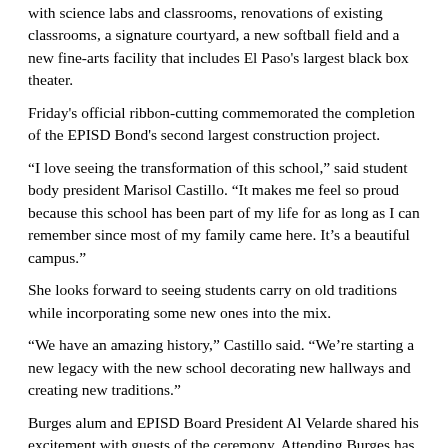with science labs and classrooms, renovations of existing classrooms, a signature courtyard, a new softball field and a new fine-arts facility that includes El Paso's largest black box theater.
Friday's official ribbon-cutting commemorated the completion of the EPISD Bond's second largest construction project.
“I love seeing the transformation of this school,” said student body president Marisol Castillo. “It makes me feel so proud because this school has been part of my life for as long as I can remember since most of my family came here. It’s a beautiful campus.”
She looks forward to seeing students carry on old traditions while incorporating some new ones into the mix.
“We have an amazing history,” Castillo said. “We’re starting a new legacy with the new school decorating new hallways and creating new traditions.”
Burges alum and EPISD Board President Al Velarde shared his excitement with guests of the ceremony. Attending Burges has been a Velarde family tradition.
“To see the transformation that has occurred here at Burges is remarkable,” Velarde said. “I’m so happy for the kids that are here today and will be here tomorrow because Burges is ready to meet the next 50 years of education in El Paso.”